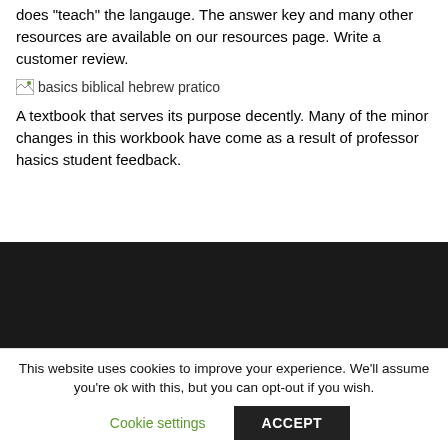does "teach" the langauge. The answer key and many other resources are available on our resources page. Write a customer review.
[Figure (illustration): Broken image placeholder with alt text 'basics biblical hebrew pratico']
A textbook that serves its purpose decently. Many of the minor changes in this workbook have come as a result of professor hasics student feedback.
[Figure (screenshot): Dark/black rectangular area representing a video or image embed]
This website uses cookies to improve your experience. We'll assume you're ok with this, but you can opt-out if you wish.
Cookie settings   ACCEPT